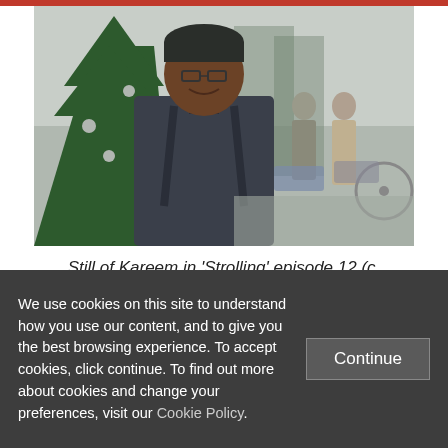[Figure (photo): A man wearing a dark beanie hat and glasses, smiling, standing in front of a Christmas tree outdoors. In the background, pedestrians and parked cars are visible on a street.]
Still of Kareem in 'Strolling' episode 12 (c. Cecile Emeke)
Emeke was joined at a Polis talk 'Navigating
We use cookies on this site to understand how you use our content, and to give you the best browsing experience. To accept cookies, click continue. To find out more about cookies and change your preferences, visit our Cookie Policy.